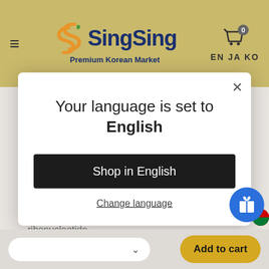SingSing Premium Korean Market
42.9%), modified starch, L-sodium glutamate (flavour
[Figure (screenshot): Modal dialog: 'Your language is set to English' with 'Shop in English' button and 'Change language' link and close X button]
ribonucleotide
Add to cart